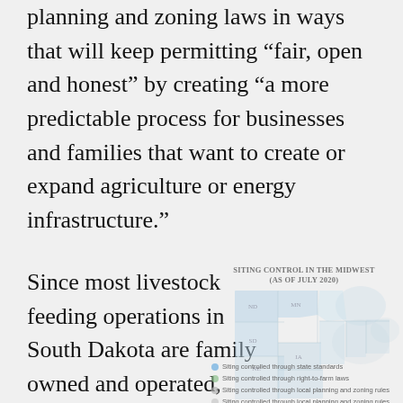planning and zoning laws in ways that will keep permitting “fair, open and honest” by creating “a more predictable process for businesses and families that want to create or expand agriculture or energy infrastructure.”
Since most livestock feeding operations in South Dakota are family owned and operated, streamlining the permitting process was one way her administration could help create a more welcoming
[Figure (map): Map titled 'SITING CONTROL IN THE MIDWEST (AS OF JULY 2020)' showing Midwestern US states with different shading indicating siting control types. Legend shows: Siting controlled through state standards; Siting controlled through right-to-farm laws; Siting controlled through local planning and zoning rules; Siting controlled through local planning and zoning rules and state standards.]